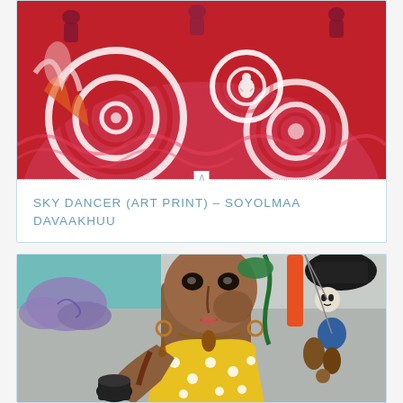[Figure (illustration): Sky Dancer art print by Soyolmaa Davaakhuu — a vivid red painting with swirling white spiral patterns, multiple dancing figures in crimson hues, and a central white meditative figure in a circular motif.]
SKY DANCER (ART PRINT) – SOYOLMAA DAVAAKHUU
[Figure (illustration): A stylized figurative painting showing a brown-skinned woman in a yellow polka-dot dress holding a black vessel, wearing earrings and a necklace with charm pendants. She has distinctive large eyes and a calm expression. Background includes teal sky with purple clouds on the left and decorative charms/skulls on the right.]